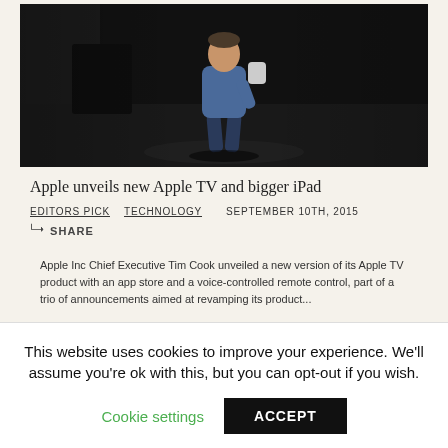[Figure (photo): A person (Tim Cook) walking on a dark stage holding an object, wearing a blue shirt and dark jeans.]
Apple unveils new Apple TV and bigger iPad
EDITORS PICK   TECHNOLOGY   SEPTEMBER 10TH, 2015
SHARE
Apple Inc Chief Executive Tim Cook unveiled a new version of its Apple TV product with an app store and a voice-controlled remote control, part of a trio of announcements aimed at revamping its product...
This website uses cookies to improve your experience. We'll assume you're ok with this, but you can opt-out if you wish.
Cookie settings   ACCEPT